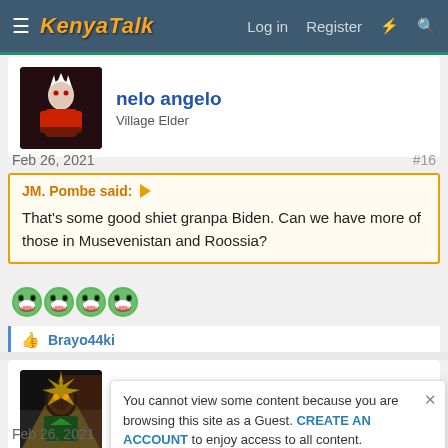KenyaTalk  Log in  Register
nelo angelo
Village Elder
Feb 26, 2021  #16
JM. Pombe said:
That's some good shiet granpa Biden. Can we have more of those in Musevenistan and Roossia?
[Figure (other): Four green laughing emoji faces]
Brayo44ki
Gaza
Chief village
Feb 26, 2021  #17
You cannot view some content because you are browsing this site as a Guest. CREATE AN ACCOUNT to enjoy access to all content.